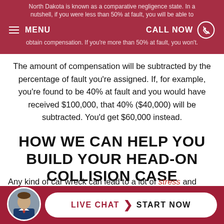North Dakota is known as a comparative negligence state. In a nutshell, if you were less than 50% at fault, you will be able to obtain compensation. If you're more than 50% at fault, you won't.
The amount of compensation will be subtracted by the percentage of fault you're assigned. If, for example, you're found to be 40% at fault and you would have received $100,000, that 40% ($40,000) will be subtracted. You'd get $60,000 instead.
HOW WE CAN HELP YOU BUILD YOUR HEAD-ON COLLISION CASE
Any kind of car wreck can lead to a lot of stress and confusion. When you factor in the severity of the injuries that typically result from a head-on collision, that makes everything that much worse.
[Figure (photo): Circular avatar photo of a man in a suit, displayed on dark red background bar at bottom]
LIVE CHAT  START NOW